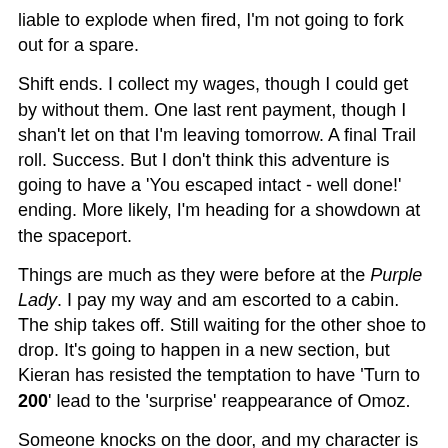liable to explode when fired, I'm not going to fork out for a spare.
Shift ends. I collect my wages, though I could get by without them. One last rent payment, though I shan't let on that I'm leaving tomorrow. A final Trail roll. Success. But I don't think this adventure is going to have a 'You escaped intact - well done!' ending. More likely, I'm heading for a showdown at the spaceport.
Things are much as they were before at the Purple Lady. I pay my way and am escorted to a cabin. The ship takes off. Still waiting for the other shoe to drop. It's going to happen in a new section, but Kieran has resisted the temptation to have 'Turn to 200' lead to the 'surprise' reappearance of Omoz.
Someone knocks on the door, and my character is not genre-savvy enough to twig that there's a climactic confrontation imminent. The sight of the fatally mutilated crew member in the corridor outside is a bit of a hint, though. Time to take the hunt to the hunter, as cowering in the cabin